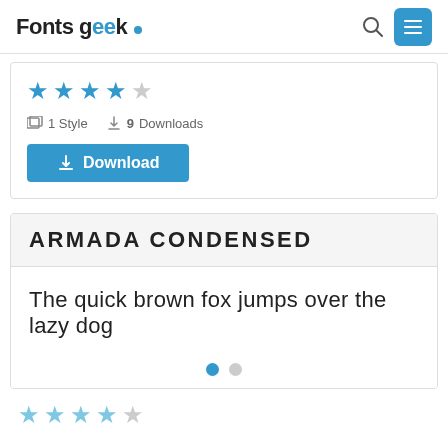Fonts geek
[Figure (other): 4 out of 5 star rating (4 blue filled stars, 1 empty star)]
1 Style  9 Downloads
Download
ARMADA CONDENSED
The quick brown fox jumps over the lazy dog
[Figure (other): Carousel dots: 1 active (blue), 1 inactive (gray)]
[Figure (other): 4 out of 5 star rating (4 light blue filled stars, 1 empty star)]